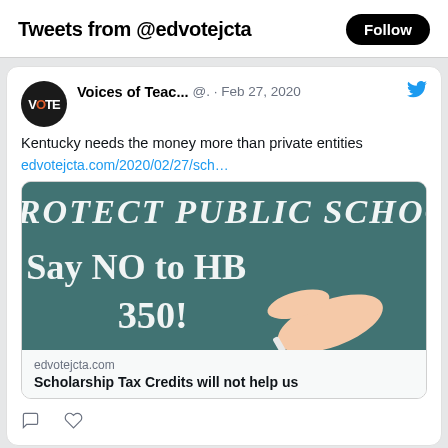Tweets from @edvotejcta
Voices of Teac...  @.  · Feb 27, 2020
Kentucky needs the money more than private entities
edvotejcta.com/2020/02/27/sch…
[Figure (photo): Chalkboard image with text 'PROTECT PUBLIC SCHOOLS Say NO to HB 350!' written in chalk, with a hand holding chalk on the right side]
edvotejcta.com
Scholarship Tax Credits will not help us